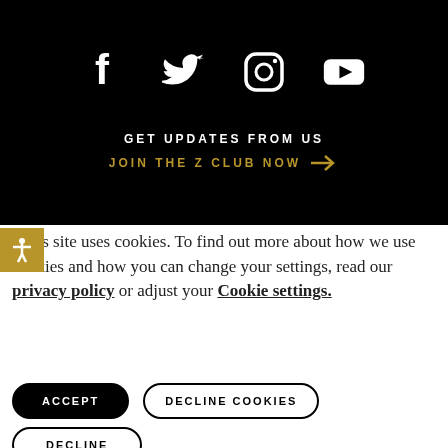[Figure (illustration): Social media icons row: Facebook, Twitter, Instagram, YouTube — white icons on black background]
GET UPDATES FROM US
JOIN THE Z CLUB NOW →
This site uses cookies. To find out more about how we use cookies and how you can change your settings, read our privacy policy or adjust your Cookie settings.
ACCEPT
DECLINE COOKIES
DECLINE